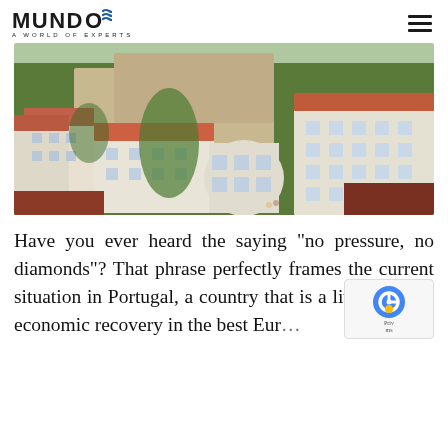MUNDO A WORLD OF EXPERTS
[Figure (photo): Aerial view of Porto, Portugal showing historic buildings with red-tiled roofs, stone walls, lush greenery, and white European architecture along a hillside]
Have you ever heard the saying "no pressure, no diamonds"? That phrase perfectly frames the current situation in Portugal, a country that is a living b[…] in economic recovery in the best Eur[…]